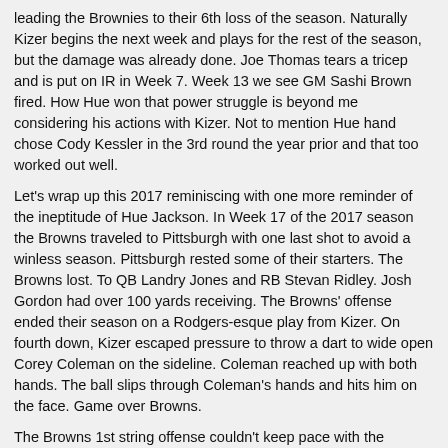leading the Brownies to their 6th loss of the season. Naturally Kizer begins the next week and plays for the rest of the season, but the damage was already done. Joe Thomas tears a tricep and is put on IR in Week 7. Week 13 we see GM Sashi Brown fired. How Hue won that power struggle is beyond me considering his actions with Kizer. Not to mention Hue hand chose Cody Kessler in the 3rd round the year prior and that too worked out well.
Let's wrap up this 2017 reminiscing with one more reminder of the ineptitude of Hue Jackson. In Week 17 of the 2017 season the Browns traveled to Pittsburgh with one last shot to avoid a winless season. Pittsburgh rested some of their starters. The Browns lost. To QB Landry Jones and RB Stevan Ridley. Josh Gordon had over 100 yards receiving. The Browns' offense ended their season on a Rodgers-esque play from Kizer. On fourth down, Kizer escaped pressure to throw a dart to wide open Corey Coleman on the sideline. Coleman reached up with both hands. The ball slips through Coleman's hands and hits him on the face. Game over Browns.
The Browns 1st string offense couldn't keep pace with the backup QB, RB and WRs of the Pittsburgh Steelers. And their last chance ended on a gimmee catch that was whiffed. That's Hue Jacksons' legacy. He was, and is, the perfect coach for the Browns. He leaves behind a legacy like none other.
And with that, let us never speak of him again.
Hey, lookee here, Demayrius Thomas is now catching passes in Houston. The Broncos get back a 4th rounder, which is pretty damn good for a fading vet.
Golden Tate just joined the Eagles for a 3rd rounder.